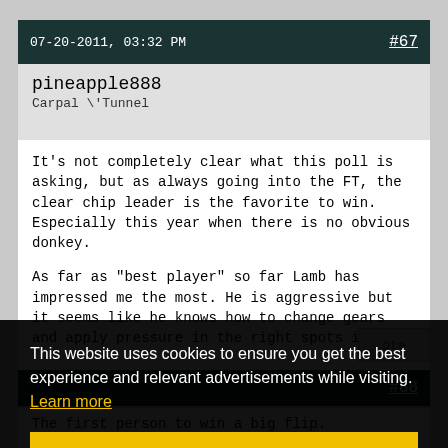07-20-2011, 03:32 PM  #67
pineapple888
Carpal \'Tunnel
It's not completely clear what this poll is asking, but as always going into the FT, the clear chip leader is the favorite to win. Especially this year when there is no obvious donkey.

As far as "best player" so far Lamb has impressed me the most. He is aggressive but it seems like he knows how to change gears and apply pressure in the right spots instead
[Figure (screenshot): Cookie consent banner overlay with text: This website uses cookies to ensure you get the best experience and relevant advertisements while visiting. Learn more. With a yellow Got it! button.]
#68
The first person to win a big flip.